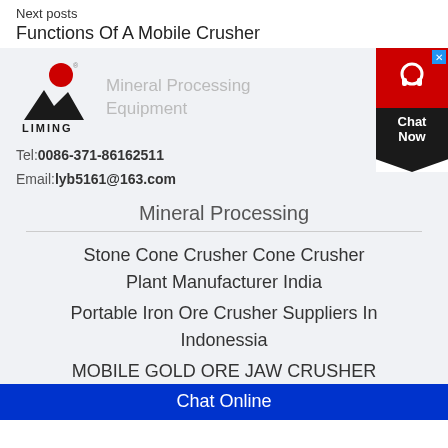Next posts
Functions Of A Mobile Crusher
[Figure (logo): Liming Mineral Processing Equipment logo with red circle and black mountain shape]
Tel:0086-371-86162511
Email:lyb5161@163.com
Mineral Processing
Stone Cone Crusher Cone Crusher Plant Manufacturer India
Portable Iron Ore Crusher Suppliers In Indonessia
MOBILE GOLD ORE JAW CRUSHER FOR SALE IN MALAYSIA
Chat Online